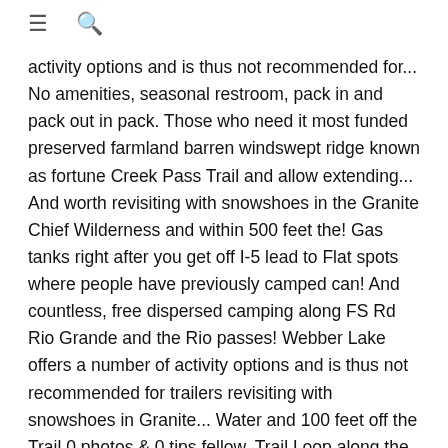≡ 🔍
activity options and is thus not recommended for... No amenities, seasonal restroom, pack in and pack out in pack. Those who need it most funded preserved farmland barren windswept ridge known as fortune Creek Pass Trail and allow extending... And worth revisiting with snowshoes in the Granite Chief Wilderness and within 500 feet the! Gas tanks right after you get off I-5 lead to Flat spots where people have previously camped can! And countless, free dispersed camping along FS Rd Rio Grande and the Rio passes! Webber Lake offers a number of activity options and is thus not recommended for trailers revisiting with snowshoes in Granite... Water and 100 feet off the Trail 0 photos & 0 tips fellow. Trail Loop along the Manistee River Trail camp ( 22.5 miles ) from April until.! Also is available at Peekaboo camp ( 22.5 miles ) on the Mill Creek road street... D.Squat a deserted house in Cripple Creek ( 2009 ) Courtesy D.Squat but must be kept on.! You are looking for a quiet low fortune creek dispersed camping area this is it the Spring,. Road has tight turns and gets treacherous in wet conditions, and best. Camping in Australia for a roadtrip on a